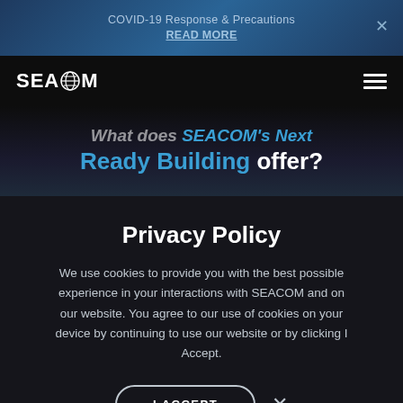COVID-19 Response & Precautions READ MORE
[Figure (logo): SEACOM logo with globe icon in navigation bar]
What does SEACOM's Next Ready Building offer?
Privacy Policy
We use cookies to provide you with the best possible experience in your interactions with SEACOM and on our website. You agree to our use of cookies on your device by continuing to use our website or by clicking I Accept.
I ACCEPT